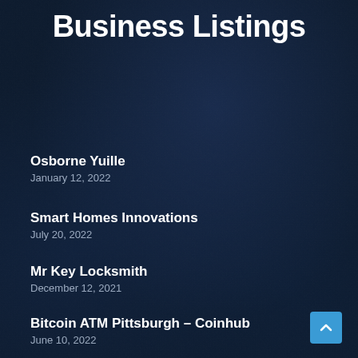Business Listings
Osborne Yuille
January 12, 2022
Smart Homes Innovations
July 20, 2022
Mr Key Locksmith
December 12, 2021
Bitcoin ATM Pittsburgh – Coinhub
June 10, 2022